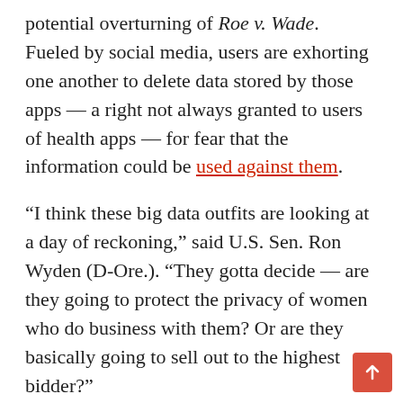potential overturning of Roe v. Wade. Fueled by social media, users are exhorting one another to delete data stored by those apps — a right not always granted to users of health apps — for fear that the information could be used against them.
“I think these big data outfits are looking at a day of reckoning,” said U.S. Sen. Ron Wyden (D-Ore.). “They gotta decide — are they going to protect the privacy of women who do business with them? Or are they basically going to sell out to the highest bidder?”
Countering those fears is a movement to better control information use through legislation and regulation. While nurses, hospitals, and other health care providers abide by privacy protections put in place by the Health Insurance Portability and